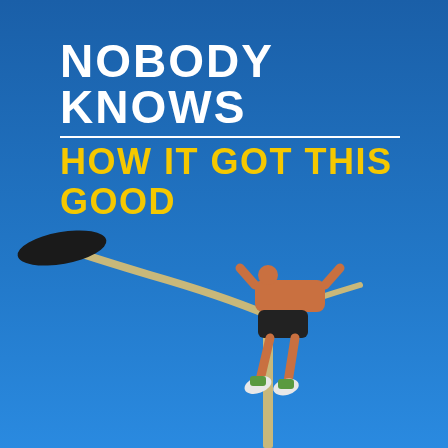[Figure (photo): A shirtless athlete performing a pole vault or street workout move, balancing horizontally on top of a dual-arm street lamp post against a bright blue sky. The lamp post has two large black lamp heads extending to the left. The athlete wears black shorts and green/white sneakers.]
NOBODY KNOWS HOW IT GOT THIS GOOD